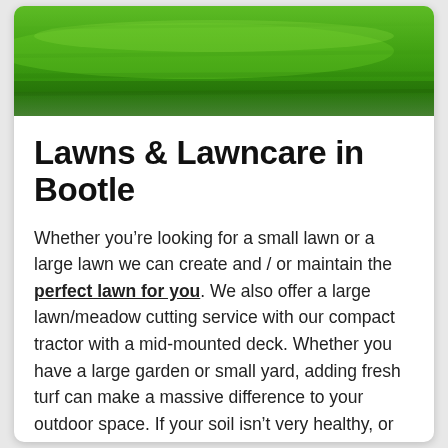[Figure (photo): Green grass/lawn photograph used as header banner image]
Lawns & Lawncare in Bootle
Whether you're looking for a small lawn or a large lawn we can create and / or maintain the perfect lawn for you. We also offer a large lawn/meadow cutting service with our compact tractor with a mid-mounted deck. Whether you have a large garden or small yard, adding fresh turf can make a massive difference to your outdoor space. If your soil isn't very healthy, or you simply don't have to time to maintain your garden, your grass can fade very quickly. Fresh turf can help fresh grass grow greener, adding life and colour to your garden. Once the turf is installed,